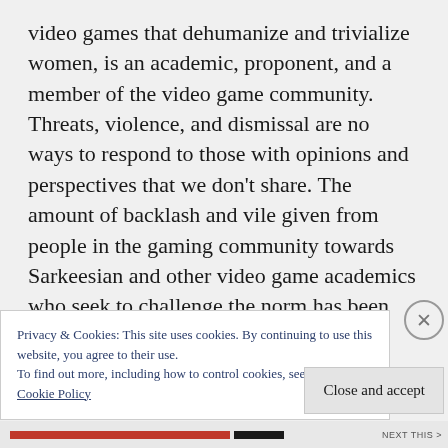video games that dehumanize and trivialize women, is an academic, proponent, and a member of the video game community. Threats, violence, and dismissal are no ways to respond to those with opinions and perspectives that we don't share. The amount of backlash and vile given from people in the gaming community towards Sarkeesian and other video game academics who seek to challenge the norm has been absolutely unsettling and unwarranted. Death threats
Privacy & Cookies: This site uses cookies. By continuing to use this website, you agree to their use.
To find out more, including how to control cookies, see here:
Cookie Policy
Close and accept